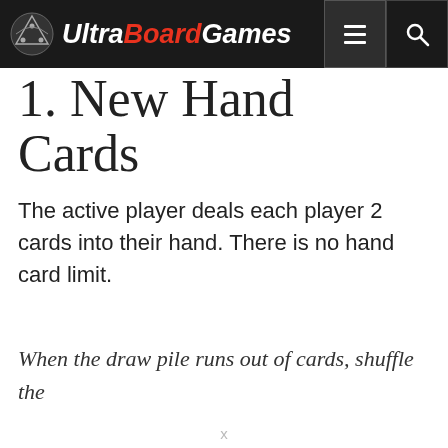UltraBoardGames
1. New Hand Cards
The active player deals each player 2 cards into their hand. There is no hand card limit.
When the draw pile runs out of cards, shuffle the